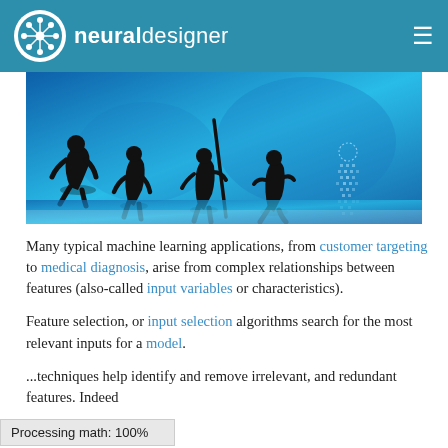neural designer (logo and navigation header)
[Figure (illustration): Evolution of man silhouettes progressing from ape to modern digital human figure, on a blue-toned background with a world map and digital data motifs]
Many typical machine learning applications, from customer targeting to medical diagnosis, arise from complex relationships between features (also-called input variables or characteristics).
Feature selection, or input selection algorithms search for the most relevant inputs for a model.
...techniques help identify and remove irrelevant, and redundant features. Indeed
Processing math: 100%